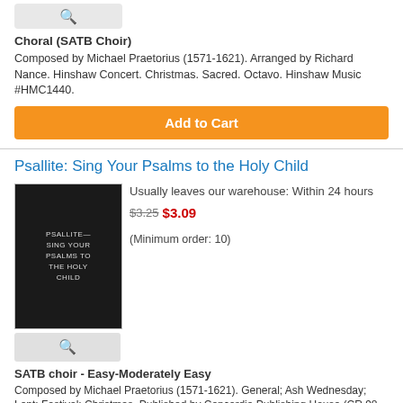[Figure (other): Magnifier/search icon button in grey box]
Choral (SATB Choir)
Composed by Michael Praetorius (1571-1621). Arranged by Richard Nance. Hinshaw Concert. Christmas. Sacred. Octavo. Hinshaw Music #HMC1440.
Add to Cart
Psallite: Sing Your Psalms to the Holy Child
[Figure (photo): Black and white book cover for Psallite - Sing Your Psalms to the Holy Child]
Usually leaves our warehouse: Within 24 hours
$3.25$3.09
(Minimum order: 10)
SATB choir - Easy-Moderately Easy
Composed by Michael Praetorius (1571-1621). General; Ash Wednesday; Lent; Festival; Christmas. Published by Concordia Publishing House (CR.98-1869U1).
Add to Cart